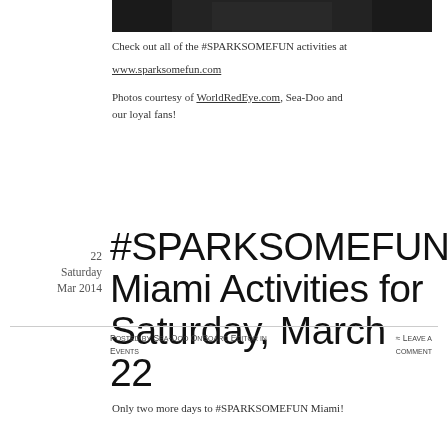[Figure (photo): Partial photo visible at top of page, dark background]
Check out all of the #SPARKSOMEFUN activities at www.sparksomefun.com
Photos courtesy of WorldRedEye.com, Sea-Doo and our loyal fans!
22
Saturday
Mar 2014
#SPARKSOMEFUN Miami Activities for Saturday, March 22
Posted by Sea-Doo OnBoard Editor in Events ≈ Leave a comment
Only two more days to #SPARKSOMEFUN Miami!